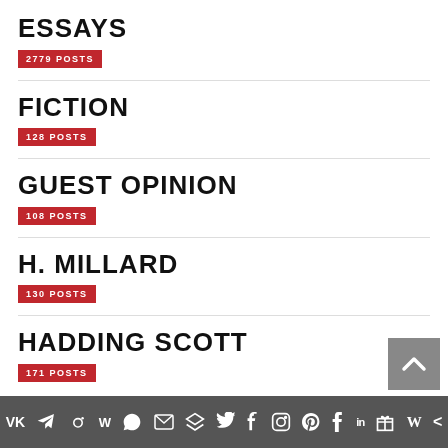ESSAYS
2779 POSTS
FICTION
128 POSTS
GUEST OPINION
108 POSTS
H. MILLARD
130 POSTS
HADDING SCOTT
171 POSTS
Social share icons bar